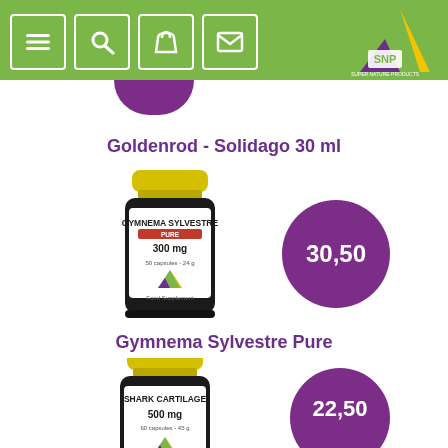SNP Super Nature Products navigation header
Goldenrod - Solidago 30 ml
[Figure (photo): SNP Gymnema Sylvestre Pure 300mg capsules supplement bottle with yellow cap and SNP logo, with purple price bubble showing 30,50]
Gymnema Sylvestre Pure
[Figure (photo): SNP Shark Cartilage 500mg capsules supplement bottle with yellow cap and SNP logo, with purple price bubble partially visible showing 22,50]